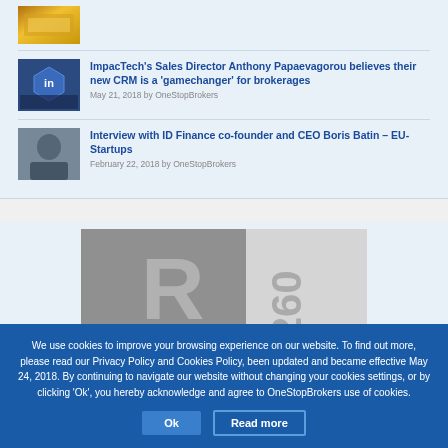[Figure (photo): Gold bars thumbnail image]
[Figure (screenshot): CRM software screenshot with blue hexagon logo thumbnail]
ImpacTech's Sales Director Anthony Papaevagorou believes their new CRM is a 'gamechanger' for brokerages
May 21, 2018 by OneStopBrokers
[Figure (photo): Portrait photo of Boris Batin]
Interview with ID Finance co-founder and CEO Boris Batin – EU-Startups
February 22, 2018 by OneStopBrokers
[Figure (photo): Placeholder image with large R letter and x260 text]
We use cookies to improve your browsing experience on our website. To find out more, please read our Privacy Policy and Cookies Policy, been updated and became effective May 24, 2018. By continuing to navigate our website without changing your cookies settings, or by clicking 'Ok', you hereby acknowledge and agree to OneStopBrokers use of cookies.